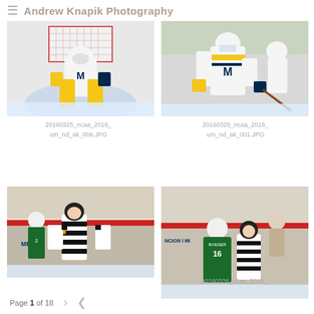Andrew Knapik Photography
[Figure (photo): Michigan hockey goalie in yellow and blue uniform crouched in front of net]
[Figure (photo): Michigan hockey player in white and yellow uniform gesturing on ice]
20160325_ncaa_2016_
um_nd_ak_006.JPG
20160325_ncaa_2016_
um_nd_ak_001.JPG
[Figure (photo): Hockey referee in black and white stripes with orange armbands on ice]
[Figure (photo): Hockey player number 16 BOESER in green uniform with referee on ice]
20160326_ncaa_2016_
Page 1 of 18